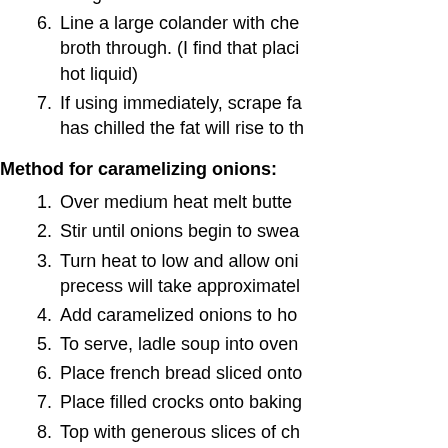5. Bring to a boil and then reduce
6. Line a large colander with che broth through. (I find that placi hot liquid)
7. If using immediately, scrape fa has chilled the fat will rise to th
Method for caramelizing onions:
1. Over medium heat melt butte
2. Stir until onions begin to swea
3. Turn heat to low and allow oni precess will take approximatel
4. Add caramelized onions to ho
5. To serve, ladle soup into oven
6. Place french bread sliced onto
7. Place filled crocks onto baking
8. Top with generous slices of ch
9. Leaving oven rack at regular h